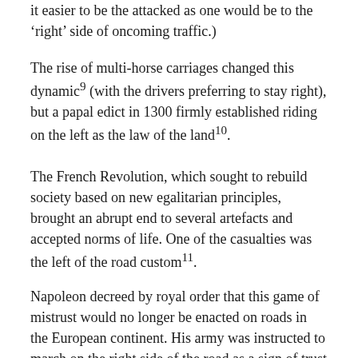it easier to be the attacked as one would be to the 'right' side of oncoming traffic.)
The rise of multi-horse carriages changed this dynamic9 (with the drivers preferring to stay right), but a papal edict in 1300 firmly established riding on the left as the law of the land10.
The French Revolution, which sought to rebuild society based on new egalitarian principles, brought an abrupt end to several artefacts and accepted norms of life. One of the casualties was the left of the road custom11.
Napoleon decreed by royal order that this game of mistrust would no longer be enacted on roads in the European continent. His army was instructed to march on the right side of the road as a sign of trust...